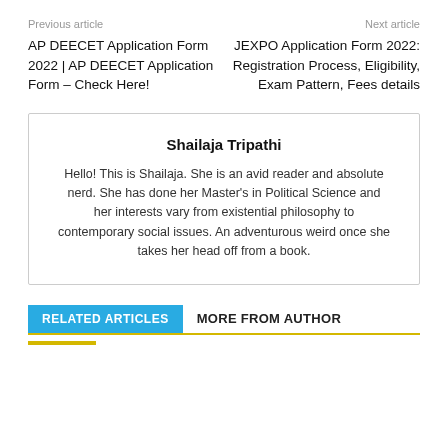Previous article
Next article
AP DEECET Application Form 2022 | AP DEECET Application Form – Check Here!
JEXPO Application Form 2022: Registration Process, Eligibility, Exam Pattern, Fees details
Shailaja Tripathi
Hello! This is Shailaja. She is an avid reader and absolute nerd. She has done her Master's in Political Science and her interests vary from existential philosophy to contemporary social issues. An adventurous weird once she takes her head off from a book.
RELATED ARTICLES
MORE FROM AUTHOR